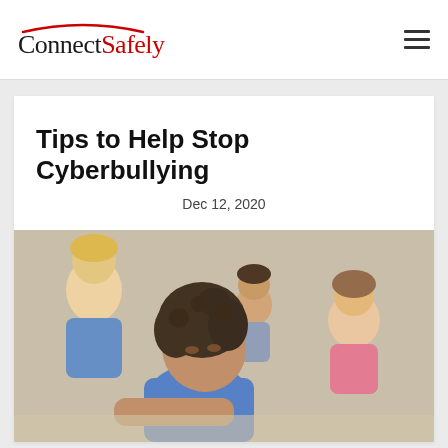ConnectSafely
Tips to Help Stop Cyberbullying
Dec 12, 2020
[Figure (photo): A young girl with curly dark hair resting her head on a desk looking sad, with other children laughing in the background in a classroom setting.]